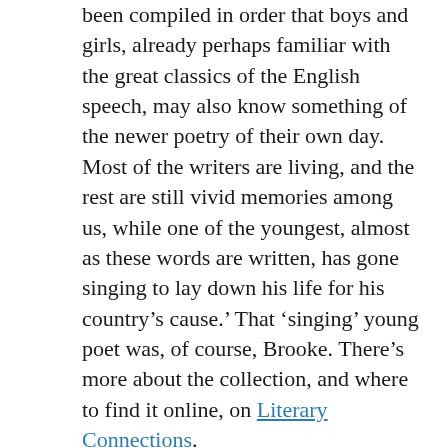been compiled in order that boys and girls, already perhaps familiar with the great classics of the English speech, may also know something of the newer poetry of their own day. Most of the writers are living, and the rest are still vivid memories among us, while one of the youngest, almost as these words are written, has gone singing to lay down his life for his country's cause.' That 'singing' young poet was, of course, Brooke. There's more about the collection, and where to find it online, on Literary Connections.
More about the new Poet Laureate, including exclusive revelations, in a later post!